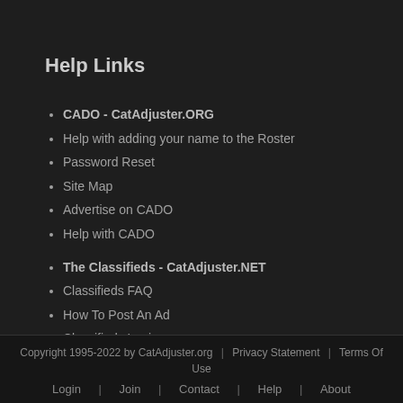Help Links
CADO - CatAdjuster.ORG
Help with adding your name to the Roster
Password Reset
Site Map
Advertise on CADO
Help with CADO
The Classifieds - CatAdjuster.NET
Classifieds FAQ
How To Post An Ad
Classifieds Login
Copyright 1995-2022 by CatAdjuster.org | Privacy Statement | Terms Of Use | Login | Join | Contact | Help | About